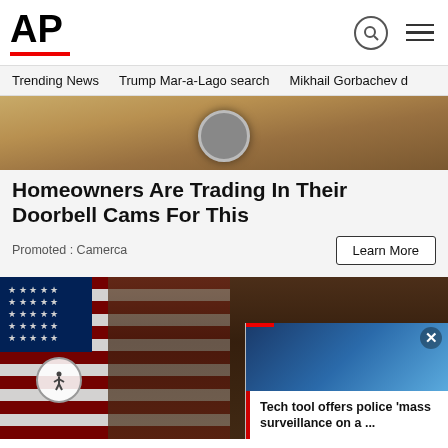AP
Homeowners Are Trading In Their Doorbell Cams For This
Promoted : Camerca
[Figure (photo): Close-up photo of a doorbell camera]
[Figure (photo): Photo of a woman with blonde hair standing in front of an American flag]
[Figure (screenshot): Overlay video thumbnail showing a blue-toned scene with text: Tech tool offers police 'mass surveillance on a ...']